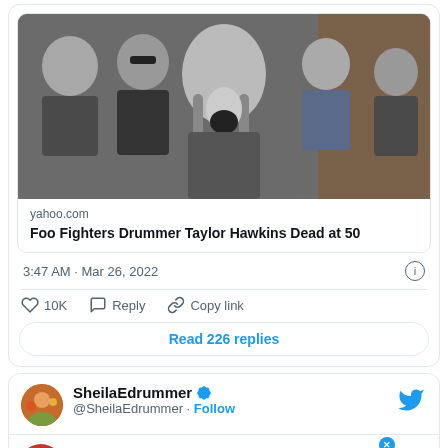[Figure (screenshot): Black and white band photo (Foo Fighters) shown as a link preview image. Multiple band members visible, central figure has long hair and open mouth screaming.]
yahoo.com
Foo Fighters Drummer Taylor Hawkins Dead at 50
3:47 AM · Mar 26, 2022
10K   Reply   Copy link
Read 226 replies
SheilaEdrummer @SheilaEdrummer · Follow
I am ... f my
Making an international money transfer? Get bank-beating exchange rates